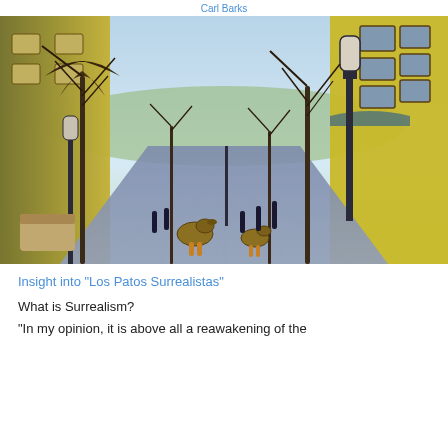Carl Barks
[Figure (photo): A colorful street scene with yellow buildings, bare winter trees lining a cobblestone pedestrian boulevard, lamp posts, and two ducks walking in the foreground. Vibrant HDR-style photo, possibly in a Spanish or Mediterranean town.]
Insight into "Los Patos Surrealistas"
What is Surrealism?
"In my opinion, it is above all a reawakening of the